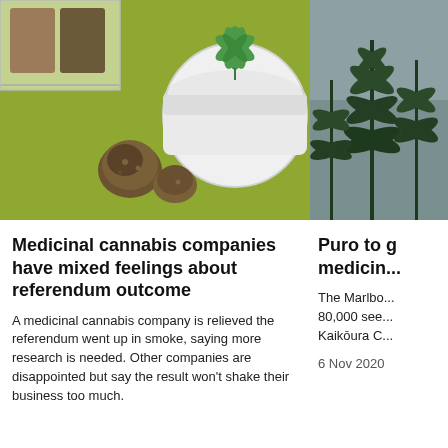[Figure (photo): Photo of cannabis buds on a green surface next to a white jar with a cannabis leaf logo on the lid, and a clear container of cannabis in the background.]
[Figure (photo): Partial photo of tall cannabis plants against a grey sky, partially cropped on the right side of the page.]
Medicinal cannabis companies have mixed feelings about referendum outcome
A medicinal cannabis company is relieved the referendum went up in smoke, saying more research is needed. Other companies are disappointed but say the result won't shake their business too much.
Puro to g... medicin...
The Marlbo... 80,000 see... Kaikōura C...
6 Nov 2020